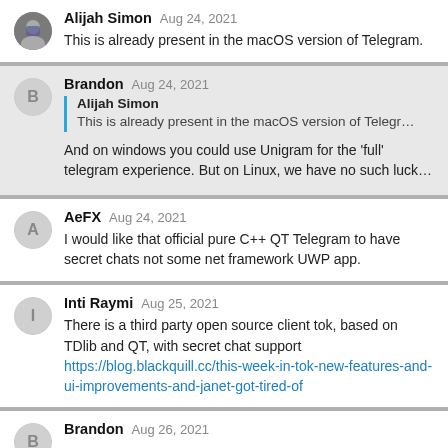Alijah Simon  Aug 24, 2021
This is already present in the macOS version of Telegram.
Brandon  Aug 24, 2021
[Quote: Alijah Simon – This is already present in the macOS version of Telegr…]
And on windows you could use Unigram for the 'full' telegram experience. But on Linux, we have no such luck…
AeFX  Aug 24, 2021
I would like that official pure C++ QT Telegram to have secret chats not some net framework UWP app.
Inti Raymi  Aug 25, 2021
There is a third party open source client tok, based on TDlib and QT, with secret chat support
https://blog.blackquill.cc/this-week-in-tok-new-features-and-ui-improvements-and-janet-got-tired-of
Brandon  Aug 26, 2021